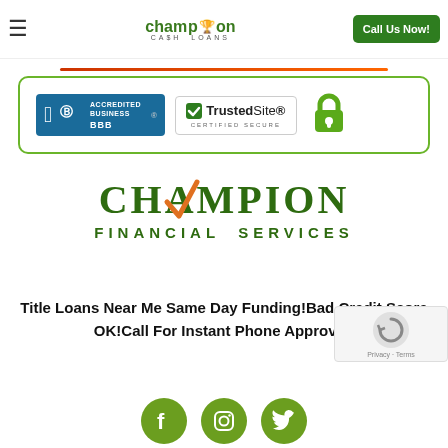champion CA$H LOANS | Call Us Now!
[Figure (logo): BBB Accredited Business badge and TrustedSite Certified Secure badge with green lock icon]
[Figure (logo): Champion Financial Services logo with orange checkmark over the A]
Title Loans Near Me Same Day Funding!Bad Credit Score OK!Call For Instant Phone Approval!
[Figure (infographic): Social media icons: Facebook, Instagram, Twitter in green circles]